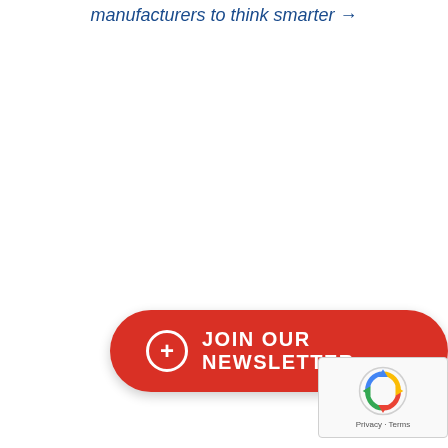manufacturers to think smarter →
[Figure (other): Red rounded button with plus icon and text 'JOIN OUR NEWSLETTER']
[Figure (other): reCAPTCHA badge with Privacy - Terms text]